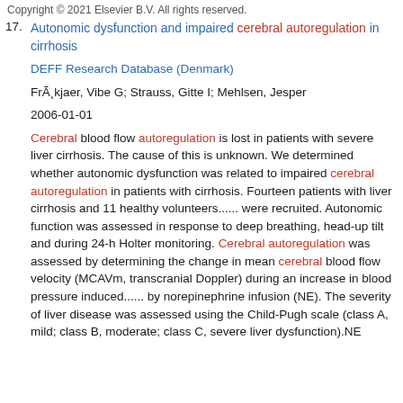Copyright © 2021 Elsevier B.V. All rights reserved.
17. Autonomic dysfunction and impaired cerebral autoregulation in cirrhosis
DEFF Research Database (Denmark)
FrÃ¸kjaer, Vibe G; Strauss, Gitte I; Mehlsen, Jesper
2006-01-01
Cerebral blood flow autoregulation is lost in patients with severe liver cirrhosis. The cause of this is unknown. We determined whether autonomic dysfunction was related to impaired cerebral autoregulation in patients with cirrhosis. Fourteen patients with liver cirrhosis and 11 healthy volunteers...... were recruited. Autonomic function was assessed in response to deep breathing, head-up tilt and during 24-h Holter monitoring. Cerebral autoregulation was assessed by determining the change in mean cerebral blood flow velocity (MCAVm, transcranial Doppler) during an increase in blood pressure induced...... by norepinephrine infusion (NE). The severity of liver disease was assessed using the Child-Pugh scale (class A, mild; class B, moderate; class C, severe liver dysfunction).NE